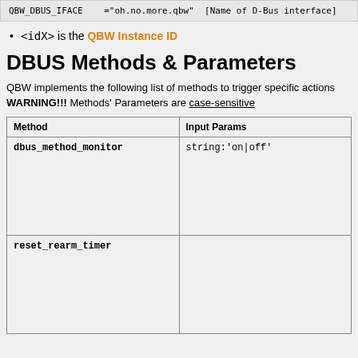QBW_DBUS_IFACE    ="oh.no.more.qbw"  [Name of D-Bus interface]
<idX> is the QBW Instance ID
DBUS Methods & Parameters
QBW implements the following list of methods to trigger specific actions
WARNING!!! Methods' Parameters are case-sensitive
| Method | Input Params |
| --- | --- |
| dbus_method_monitor | string:'on|off' |
| reset_rearm_timer |  |